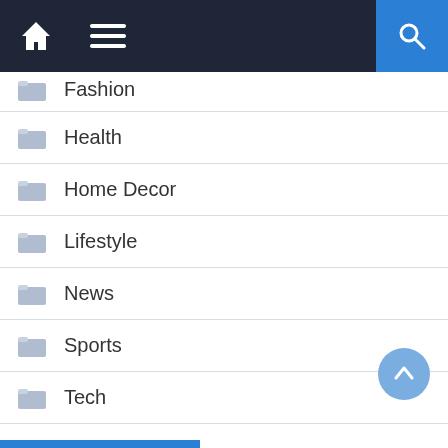Navigation bar with home, menu, and search icons
Fashion
Health
Home Decor
Lifestyle
News
Sports
Tech
Travel
Uncategorized